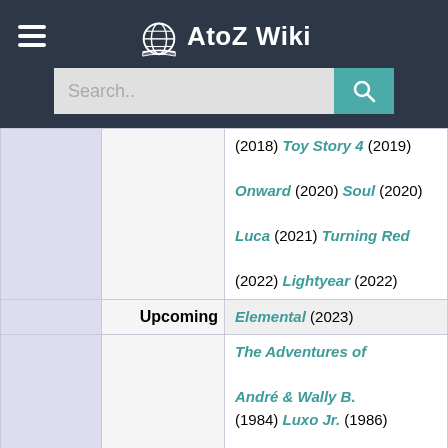AtoZ Wiki
|  |  | Films |
| --- | --- | --- |
|  |  | (2018) Toy Story 4 (2019) Onward (2020) Soul (2020) Luca (2021) Turning Red (2022) Lightyear (2022) |
|  | Upcoming | Elemental (2023) |
|  |  | The Adventures of André & Wally B. (1984) Luxo Jr. (1986) Red's Dream (1987) Tin Toy (1988) Knick Knack (1989) Geri's Game (1997) For the Birds (2000) |